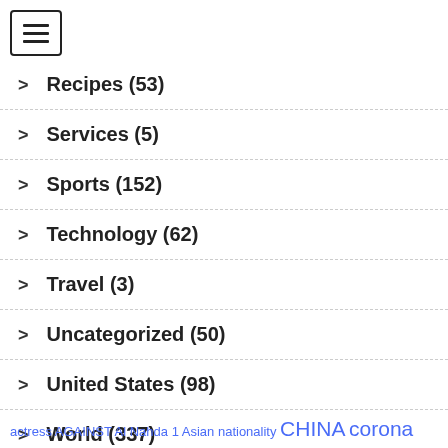[Figure (other): Hamburger menu button icon with three horizontal lines inside a bordered rectangle]
Recipes (53)
Services (5)
Sports (152)
Technology (62)
Travel (3)
Uncategorized (50)
United States (98)
World (337)
actress AGAINST Al Nahda 1 Asian nationality CHINA corona